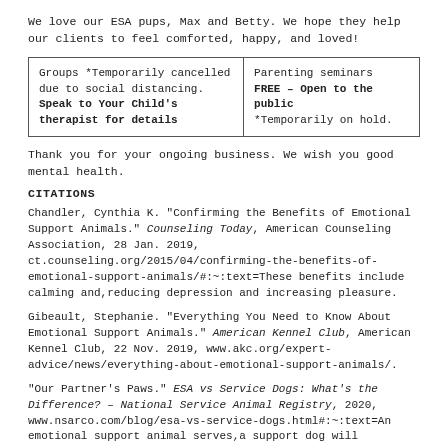We love our ESA pups, Max and Betty. We hope they help our clients to feel comforted, happy, and loved!
| Groups *Temporarily cancelled due to social distancing. Speak to Your Child's therapist for details | Parenting seminars FREE – Open to the public *Temporarily on hold. |
Thank you for your ongoing business. We wish you good mental health.
CITATIONS
Chandler, Cynthia K. "Confirming the Benefits of Emotional Support Animals." Counseling Today, American Counseling Association, 28 Jan. 2019, ct.counseling.org/2015/04/confirming-the-benefits-of-emotional-support-animals/#:~:text=These benefits include calming and,reducing depression and increasing pleasure.
Gibeault, Stephanie. "Everything You Need to Know About Emotional Support Animals." American Kennel Club, American Kennel Club, 22 Nov. 2019, www.akc.org/expert-advice/news/everything-about-emotional-support-animals/.
"Our Partner's Paws." ESA vs Service Dogs: What's the Difference? – National Service Animal Registry, 2020, www.nsarco.com/blog/esa-vs-service-dogs.html#:~:text=An emotional support animal serves,a support dog will